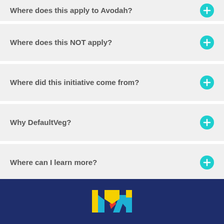Where does this apply to Avodah?
Where does this NOT apply?
Where did this initiative come from?
Why DefaultVeg?
Where can I learn more?
[Figure (logo): Avodah logo on dark navy footer bar — stylized M shape made of yellow, blue and red geometric pieces]